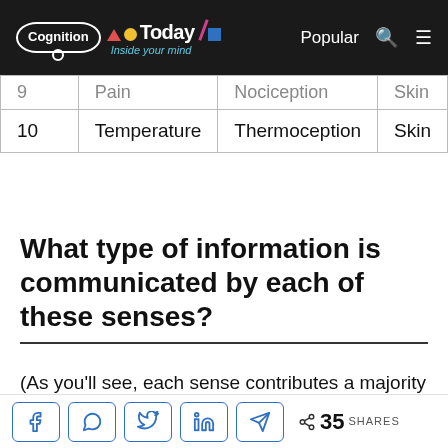Cognition Today — Inside your mind | Popular
| 9 | Pain | Nociception | Skin |
| 10 | Temperature | Thermoception | Skin |
What type of information is communicated by each of these senses?
(As you'll see, each sense contributes a majority of the following information, not ALL of it.)
35 SHARES